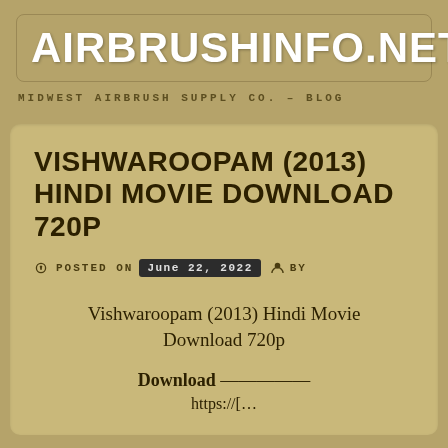AIRBRUSHINFO.NET ≡
MIDWEST AIRBRUSH SUPPLY CO. – BLOG
VISHWAROOPAM (2013) HINDI MOVIE DOWNLOAD 720P
POSTED ON June 22, 2022  BY
Vishwaroopam (2013) Hindi Movie Download 720p
Download —————
https://[partial, cut off]